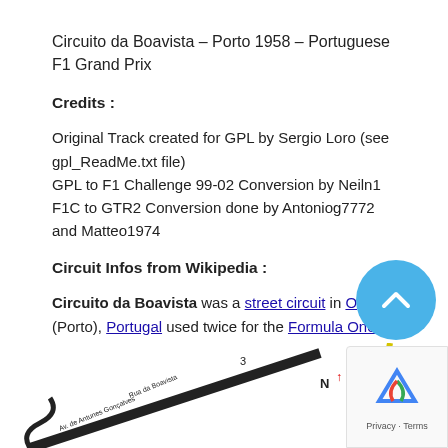Circuito da Boavista – Porto 1958 – Portuguese F1 Grand Prix
Credits :
Original Track created for GPL by Sergio Loro (see gpl_ReadMe.txt file)
GPL to F1 Challenge 99-02 Conversion by Neiln1
F1C to GTR2 Conversion done by Antoniog7772 and Matteo1974
Circuit Infos from Wikipedia :
Circuito da Boavista was a street circuit in Oporto (Porto), Portugal used twice for the Formula One Portuguese Grand Prix.
[Figure (map): Partial map of the Circuito da Boavista street circuit layout in Porto]